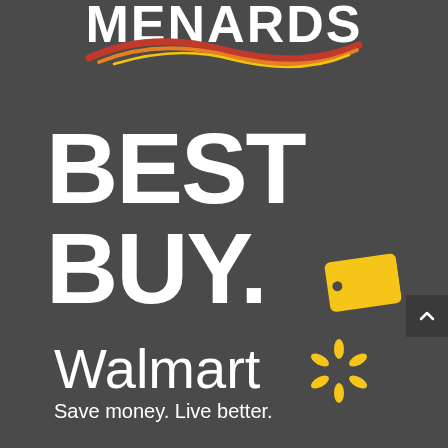[Figure (logo): Menards logo — bold white condensed text 'MENARDS' with a red/orange/yellow swoosh arc beneath it, on dark gray background]
[Figure (logo): Best Buy logo — large bold white text 'BEST BUY.' with a yellow price-tag icon after the period, on dark gray background]
[Figure (logo): Walmart logo — white text 'Walmart' with yellow spark/asterisk symbol to the right, and tagline 'Save money. Live better.' underneath, on dark gray background]